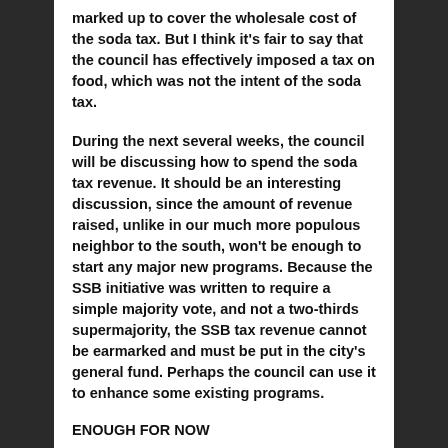marked up to cover the wholesale cost of the soda tax. But I think it's fair to say that the council has effectively imposed a tax on food, which was not the intent of the soda tax.
During the next several weeks, the council will be discussing how to spend the soda tax revenue. It should be an interesting discussion, since the amount of revenue raised, unlike in our much more populous neighbor to the south, won't be enough to start any major new programs. Because the SSB initiative was written to require a simple majority vote, and not a two-thirds supermajority, the SSB tax revenue cannot be earmarked and must be put in the city's general fund. Perhaps the council can use it to enhance some existing programs.
ENOUGH FOR NOW
There are a few more items I'd like to cover, but this is enough for now. I'll to blog again soon.